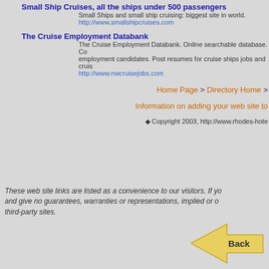Small Ship Cruises, all the ships under 500 passengers
Small Ships and small ship cruising: biggest site in world.
http://www.smallshipcruises.com
The Cruise Employment Databank
The Cruise Employment Databank. Online searchable database. Co... employment candidates. Post resumes for cruise ships jobs and cruis...
http://www.nwcruisejobs.com
Home Page > Directory Home >
Information on adding your web site to
◆ Copyright 2003, http://www.rhodes-hote
These web site links are listed as a convenience to our visitors. If yo and give no guarantees, warranties or representations, implied or o third-party sites.
[Figure (illustration): Yellow/gold back arrow button with text 'Back']